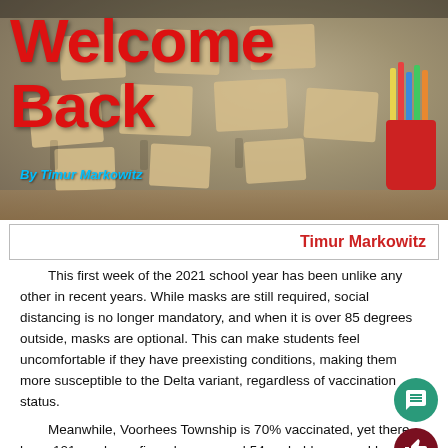[Figure (photo): Classroom with empty student desks and chairs, with colored pencils in a red cup on the right side. Bold red text 'Welcome Back' overlaid on top left, with byline 'By Timur Markowitz' below.]
Timur Markowitz
This first week of the 2021 school year has been unlike any other in recent years. While masks are still required, social distancing is no longer mandatory, and when it is over 85 degrees outside, masks are optional. This can make students feel uncomfortable if they have preexisting conditions, making them more susceptible to the Delta variant, regardless of vaccination status.
Meanwhile, Voorhees Township is 70% vaccinated, yet there have 101 newly confirmed cases, and 54 probable cases. I have personally heard my teachers state that they have students with COVID already.